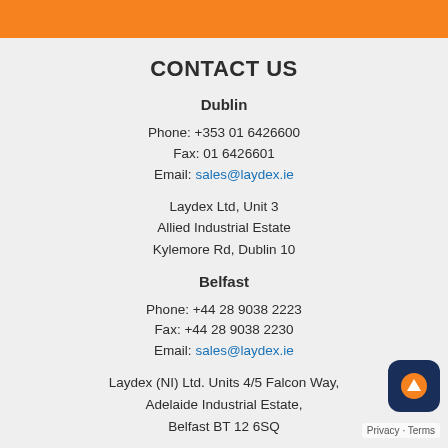CONTACT US
Dublin
Phone: +353 01 6426600
Fax: 01 6426601
Email: sales@laydex.ie
Laydex Ltd, Unit 3
Allied Industrial Estate
Kylemore Rd, Dublin 10
Belfast
Phone: +44 28 9038 2223
Fax: +44 28 9038 2230
Email: sales@laydex.ie
Laydex (NI) Ltd. Units 4/5 Falcon Way,
Adelaide Industrial Estate,
Belfast BT 12 6SQ